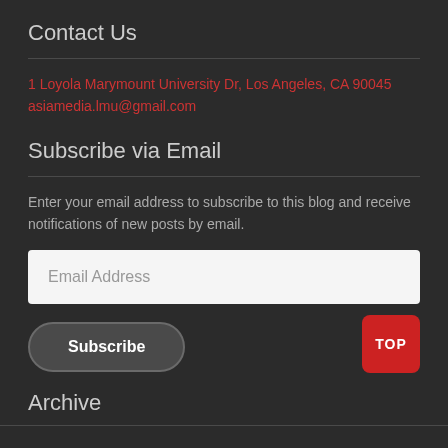Contact Us
1 Loyola Marymount University Dr, Los Angeles, CA 90045
asiamedia.lmu@gmail.com
Subscribe via Email
Enter your email address to subscribe to this blog and receive notifications of new posts by email.
Email Address
Subscribe
TOP
Archive